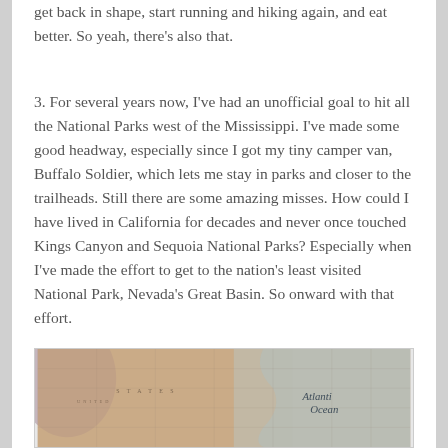get back in shape, start running and hiking again, and eat better. So yeah, there's also that.
3. For several years now, I've had an unofficial goal to hit all the National Parks west of the Mississippi. I've made some good headway, especially since I got my tiny camper van, Buffalo Soldier, which lets me stay in parks and closer to the trailheads. Still there are some amazing misses. How could I have lived in California for decades and never once touched Kings Canyon and Sequoia National Parks? Especially when I've made the effort to get to the nation's least visited National Park, Nevada's Great Basin. So onward with that effort.
[Figure (map): A vintage-style map showing the eastern United States and the Atlantic Ocean, with a pinkish-brown antique tone. The words 'Atlantic Ocean' are visible in italic text on the right side.]